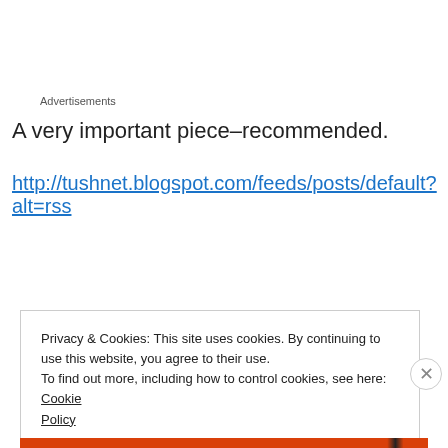Advertisements
A very important piece–recommended.
http://tushnet.blogspot.com/feeds/posts/default?alt=rss
Privacy & Cookies: This site uses cookies. By continuing to use this website, you agree to their use.
To find out more, including how to control cookies, see here: Cookie Policy
Close and accept